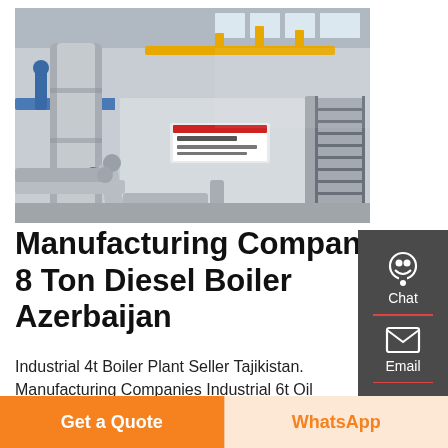[Figure (photo): Industrial boiler facility interior showing large metallic boiler equipment with silver insulated pipes, yellow overhead pipes, and a staircase in the background. Chinese text visible on the boiler unit.]
Manufacturing Companies 8 Ton Diesel Boiler Azerbaijan
Industrial 4t Boiler Plant Seller Tajikistan. Manufacturing Companies Industrial 6t Oil Boiler
Chat
Email
Contact
Get a Quote
WhatsApp